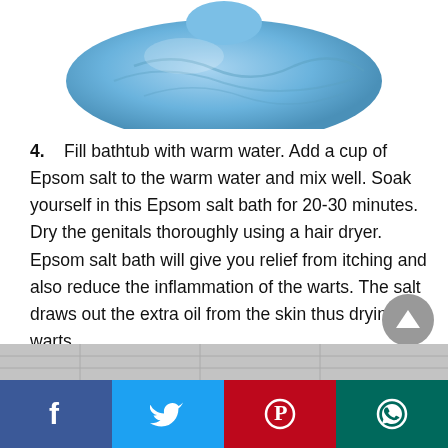[Figure (photo): A blue hot water bottle or ice bag, rounded shape with folds/wrinkles, on white background]
4.    Fill bathtub with warm water. Add a cup of Epsom salt to the warm water and mix well. Soak yourself in this Epsom salt bath for 20-30 minutes. Dry the genitals thoroughly using a hair dryer. Epsom salt bath will give you relief from itching and also reduce the inflammation of the warts. The salt draws out the extra oil from the skin thus drying the warts.
[Figure (photo): Partial blurred/greyed image at bottom of page]
[Figure (other): Social sharing bar with Facebook, Twitter, Pinterest, WhatsApp buttons]